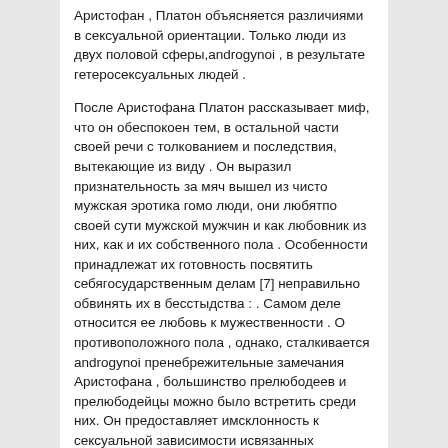Аристофан , Платон объясняется различиями в сексуальной ориентации. Только люди из двух половой сферы,androgynoi , в результате гетеросексуальных людей .
После Аристофана Платон рассказывает миф, что он обеспокоен тем, в остальной части своей речи с толкованием и последствия, вытекающие из виду . Он выразил признательность за мяч вышел из чисто мужская эротика гомо люди, они любятпо своей сути мужской мужчин и как любовник из них, как и их собственного пола . Особенности принадлежат их готовность посвятить себягосударственным делам [7] неправильно обвинять их в бесстыдства : . Самом деле относится ее любовь к мужественности . О противоположного пола , однако, сталкивается androgynoi пренебрежительные замечания Аристофана , большинство прелюбодеев и прелюбодейцы можно было встретить среди них. Он предоставляет имсклонность к сексуальной зависимости исвязанных отсутствие лояльности . [8]